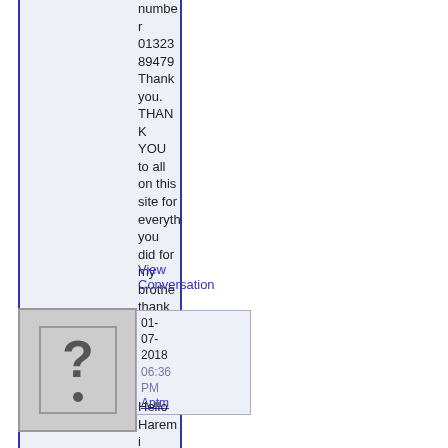number 01323 894798 Thank you. THANK YOU to all on this site for everything you did for my brother thank you.
View Conversation
[Figure (other): Avatar placeholder image with a question mark symbol on grey background]
01-07-2018 06:36 PM Antm
Hello Haremi wanted